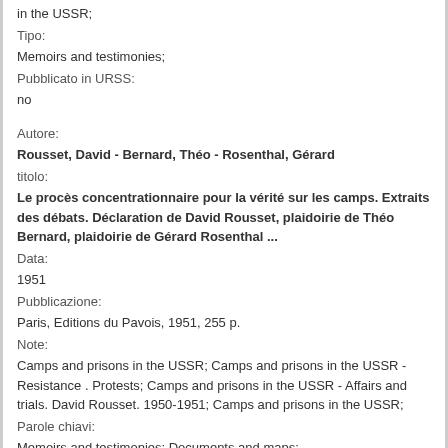in the USSR;
Tipo:
Memoirs and testimonies;
Pubblicato in URSS:
no
Autore:
Rousset, David - Bernard, Théo - Rosenthal, Gérard
titolo:
Le procès concentrationnaire pour la vérité sur les camps. Extraits des débats. Déclaration de David Rousset, plaidoirie de Théo Bernard, plaidoirie de Gérard Rosenthal ...
Data:
1951
Pubblicazione:
Paris, Editions du Pavois, 1951, 255 p.
Note:
Camps and prisons in the USSR; Camps and prisons in the USSR - Resistance . Protests; Camps and prisons in the USSR - Affairs and trials. David Rousset. 1950-1951; Camps and prisons in the USSR;
Parole chiavi:
Memoirs and testimonies; Documents and maps;
Tipo:
no
Pubblicato in URSS: